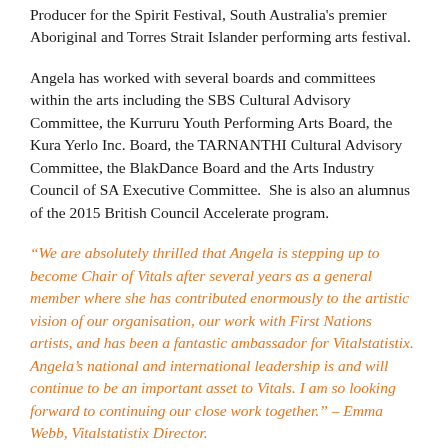Producer for the Spirit Festival, South Australia's premier Aboriginal and Torres Strait Islander performing arts festival.
Angela has worked with several boards and committees within the arts including the SBS Cultural Advisory Committee, the Kurruru Youth Performing Arts Board, the Kura Yerlo Inc. Board, the TARNANTHI Cultural Advisory Committee, the BlakDance Board and the Arts Industry Council of SA Executive Committee.  She is also an alumnus of the 2015 British Council Accelerate program.
“We are absolutely thrilled that Angela is stepping up to become Chair of Vitals after several years as a general member where she has contributed enormously to the artistic vision of our organisation, our work with First Nations artists, and has been a fantastic ambassador for Vitalstatistix. Angela’s national and international leadership is and will continue to be an important asset to Vitals. I am so looking forward to continuing our close work together.” – Emma Webb, Vitalstatistix Director.
“It has been such an enormous privilege to serve on the